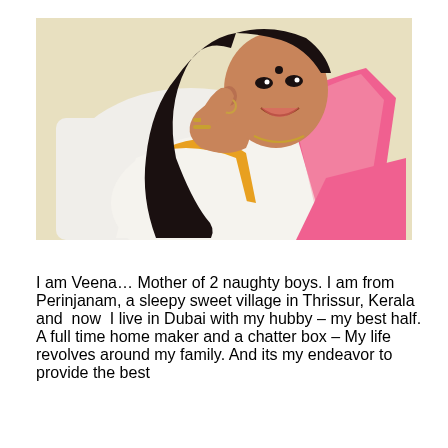[Figure (photo): A smiling Indian woman with long black hair, wearing a white and yellow saree with a pink border, reclining on a white sofa/couch. She has a bindi on her forehead and gold bangles. The background is a light cream/beige wall.]
I am Veena… Mother of 2 naughty boys. I am from Perinjanam, a sleepy sweet village in Thrissur, Kerala and  now  I live in Dubai with my hubby – my best half. A full time home maker and a chatter box – My life revolves around my family. And its my endeavor to provide the best